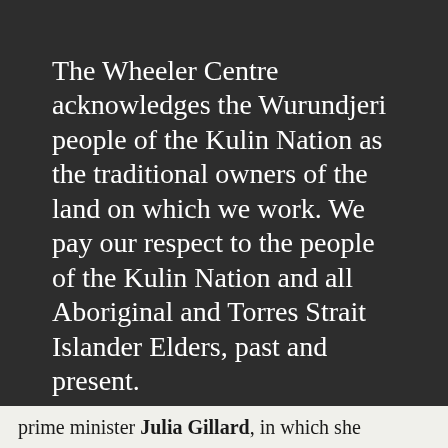The Wheeler Centre acknowledges the Wurundjeri people of the Kulin Nation as the traditional owners of the land on which we work. We pay our respect to the people of the Kulin Nation and all Aboriginal and Torres Strait Islander Elders, past and present.
[Figure (other): A yellow right-pointing arrow symbol on dark background]
prime minister Julia Gillard, in which she